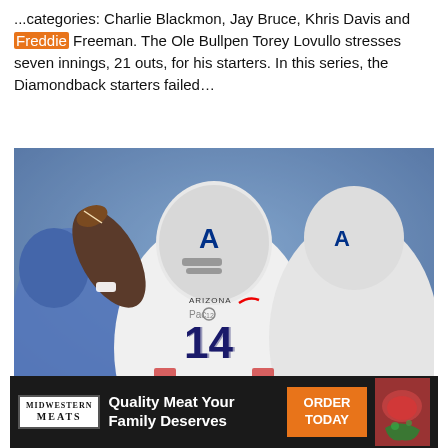...categories: Charlie Blackmon, Jay Bruce, Khris Davis and Freddie Freeman. The Ole Bullpen Torey Lovullo stresses seven innings, 21 outs, for his starters. In this series, the Diamondback starters failed...
[Figure (photo): Arizona Wildcats quarterback #14 in white uniform throwing a pass, with teammate #58 beside him, opponents in blue UCLA uniforms, stadium background]
COLLEGE   FEATURED   UNIVERSITY OF ARIZONA
Injury Filled Wildcats Fall to Bruins
[Figure (other): Midwestern Meats advertisement: Quality Meat Your Family Deserves - ORDER TODAY]